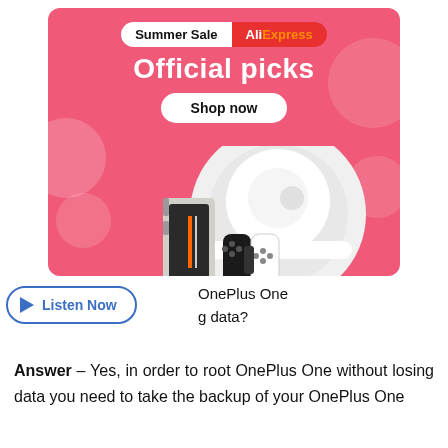[Figure (infographic): AliExpress Summer Sale advertisement banner with pink background, showing 'Summer Sale AliExpress Official picks Shop now' text, robot vacuum, OnePlus phone and Nintendo Switch-like controller products.]
OnePlus One
g data?
[Figure (other): Listen Now button with play triangle icon, blue border rounded rectangle button]
Answer – Yes, in order to root OnePlus One without losing data you need to take the backup of your OnePlus One